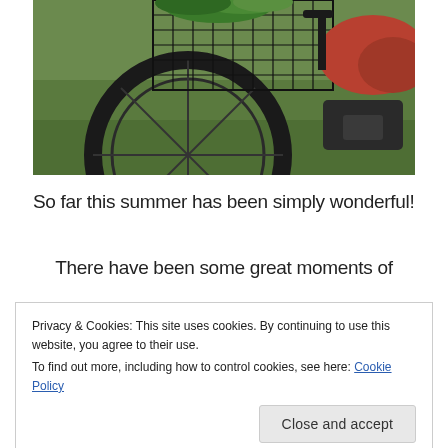[Figure (photo): Close-up photograph of a bicycle with a wire basket containing green plants/herbs, a black tire, and a red/brown leather seat visible in the background. Set against green grass.]
So far this summer has been simply wonderful!
There have been some great moments of
Privacy & Cookies: This site uses cookies. By continuing to use this website, you agree to their use.
To find out more, including how to control cookies, see here: Cookie Policy